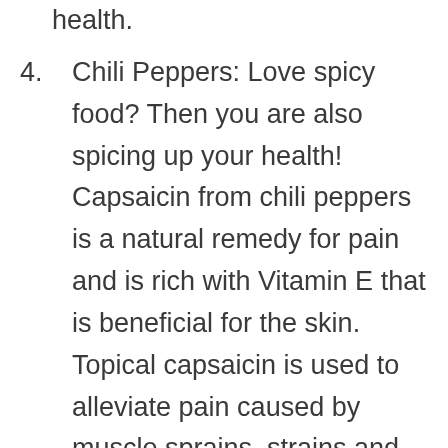health.
4. Chili Peppers: Love spicy food? Then you are also spicing up your health! Capsaicin from chili peppers is a natural remedy for pain and is rich with Vitamin E that is beneficial for the skin. Topical capsaicin is used to alleviate pain caused by muscle sprains, strains and rheumatoid arthritis. It is good for back pain, fibromyalgia, and headaches, but you have to be wary if you have skin irritation. Do not forget to wash your hands after application and do not touch your eyes and other sensitive areas of the skin after applying capsaicin.
5. Pineapples: This delish tropical fruit is rich in enzyme called bromelain. Bromelain is helpful in osteoarthritis by reducing inflammation and